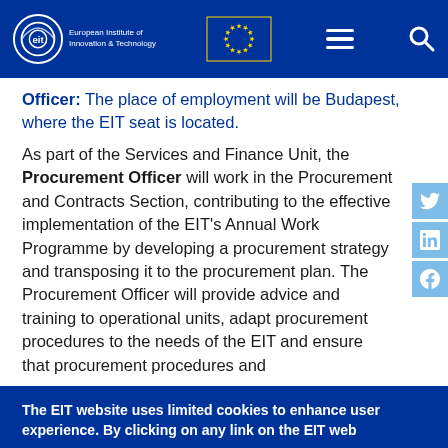EIT - European Institute of Innovation & Technology header with EU flag, menu and search icons
Officer: The place of employment will be Budapest, where the EIT seat is located.
As part of the Services and Finance Unit, the Procurement Officer will work in the Procurement and Contracts Section, contributing to the effective implementation of the EIT's Annual Work Programme by developing a procurement strategy and transposing it to the procurement plan. The Procurement Officer will provide advice and training to operational units, adapt procurement procedures to the needs of the EIT and ensure that procurement procedures and
The EIT website uses limited cookies to enhance user experience. By clicking on any link on the EIT web